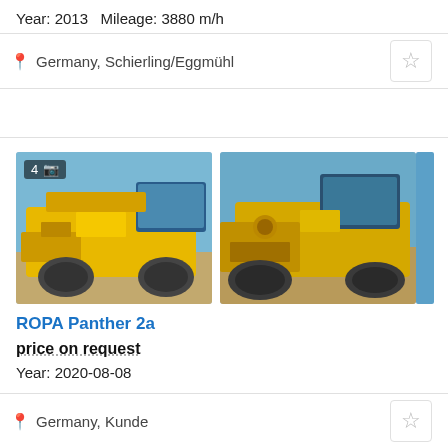Year: 2013   Mileage: 3880 m/h
Germany, Schierling/Eggmühl
[Figure (photo): Yellow ROPA Panther 2a sugar beet harvester machine, front-left view, sunny day with blue sky]
[Figure (photo): Yellow ROPA Panther 2a sugar beet harvester machine, front-right view, sunny day with blue sky]
ROPA Panther 2a
price on request
Year: 2020-08-08
Germany, Kunde